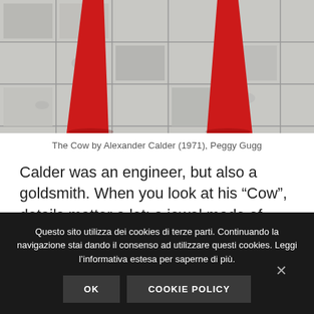[Figure (photo): Cropped photo showing the lower legs/base of a red metal sculpture (The Cow by Alexander Calder) on a stone tile floor]
The Cow by Alexander Calder (1971), Peggy Gugg
Calder was an engineer, but also a goldsmith. When you look at his “Cow”, details matter a lot: a jewel made of iron, beautifully polished all over its borders. Keeping in mind the military warships in steel and signing his art work with a weld, Calder created a cow, a subject
Questo sito utilizza dei cookies di terze parti. Continuando la navigazione stai dando il consenso ad utilizzare questi cookies. Leggi l’informativa estesa per saperne di più.